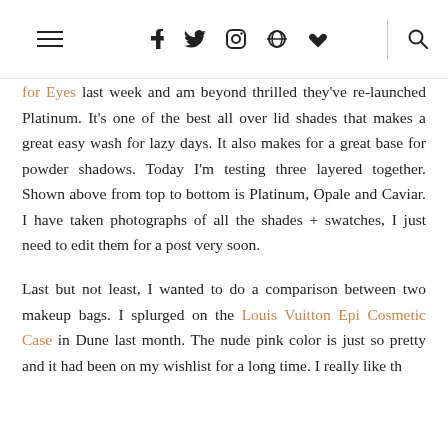≡  f  𝕏  ◎  ⊕  ♥  |  🔍
for Eyes last week and am beyond thrilled they've re-launched Platinum. It's one of the best all over lid shades that makes a great easy wash for lazy days. It also makes for a great base for powder shadows. Today I'm testing three layered together. Shown above from top to bottom is Platinum, Opale and Caviar. I have taken photographs of all the shades + swatches, I just need to edit them for a post very soon.
Last but not least, I wanted to do a comparison between two makeup bags. I splurged on the Louis Vuitton Epi Cosmetic Case in Dune last month. The nude pink color is just so pretty and it had been on my wishlist for a long time. I really like the